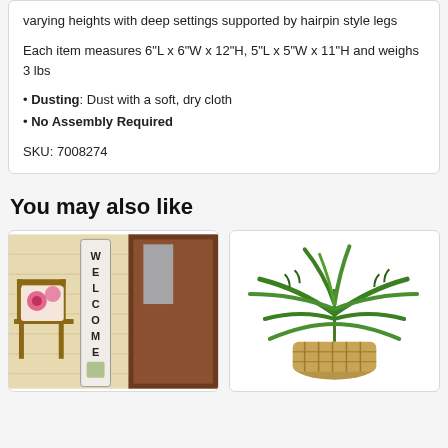Varying heights with deep settings supported by hairpin style legs
Each item measures 6"L x 6"W x 12"H, 5"L x 5"W x 11"H and weighs 3 lbs
Dusting: Dust with a soft, dry cloth
No Assembly Required
SKU: 7008274
You may also like
[Figure (photo): Welcome porch sign with vertical WELCOME text in black on white board, placed near a front door with a wooden chair and floral pillow]
[Figure (photo): Artificial green palm plant in a woven basket planter, displayed on white background]